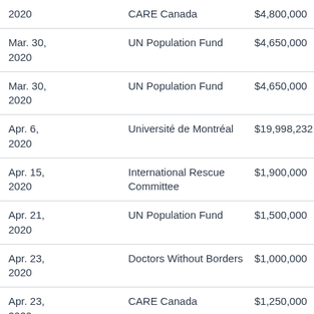| Date | Organization | Amount |
| --- | --- | --- |
| 2020 | CARE Canada | $4,800,000 |
| Mar. 30, 2020 | UN Population Fund | $4,650,000 |
| Mar. 30, 2020 | UN Population Fund | $4,650,000 |
| Apr. 6, 2020 | Université de Montréal | $19,998,232 |
| Apr. 15, 2020 | International Rescue Committee | $1,900,000 |
| Apr. 21, 2020 | UN Population Fund | $1,500,000 |
| Apr. 23, 2020 | Doctors Without Borders | $1,000,000 |
| Apr. 23, 2020 | CARE Canada | $1,250,000 |